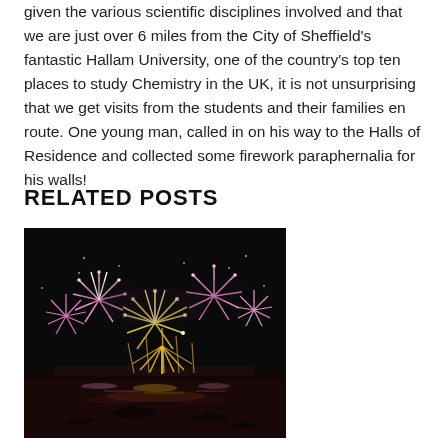given the various scientific disciplines involved and that we are just over 6 miles from the City of Sheffield's fantastic Hallam University, one of the country's top ten places to study Chemistry in the UK, it is not unsurprising that we get visits from the students and their families en route. One young man, called in on his way to the Halls of Residence and collected some firework paraphernalia for his walls!
RELATED POSTS
[Figure (photo): Night photograph of fireworks display over water, with multiple large colorful bursts (pink, white, gold) reflected on a dark lake or river, with silhouetted boats visible on the water.]